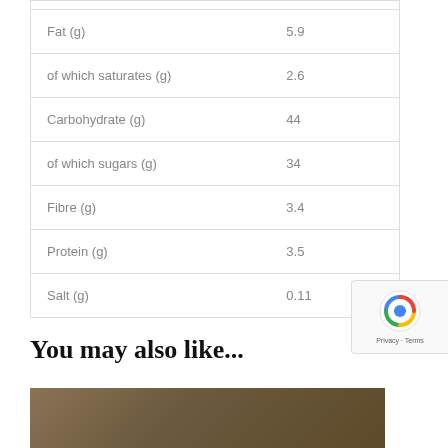| Nutrient | Value |
| --- | --- |
| Fat (g) | 5.9 |
| of which saturates (g) | 2.6 |
| Carbohydrate (g) | 44 |
| of which sugars (g) | 34 |
| Fibre (g) | 3.4 |
| Protein (g) | 3.5 |
| Salt (g) | 0.11 |
You may also like...
[Figure (photo): Partial bottom image, dark brownish food photo]